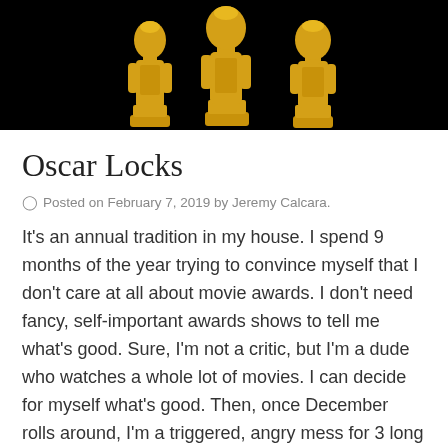[Figure (photo): Gold Oscar statuette figures on a black background]
Oscar Locks
Posted on February 7, 2019 by Jeremy Calcara.
It's an annual tradition in my house. I spend 9 months of the year trying to convince myself that I don't care at all about movie awards. I don't need fancy, self-important awards shows to tell me what's good. Sure, I'm not a critic, but I'm a dude who watches a whole lot of movies. I can decide for myself what's good. Then, once December rolls around, I'm a triggered, angry mess for 3 long months as the awards roll in for all of the movies that I didn't end up seeing. Well, not this year. This year, I've seen more movies than ever before and I'm ready to not be